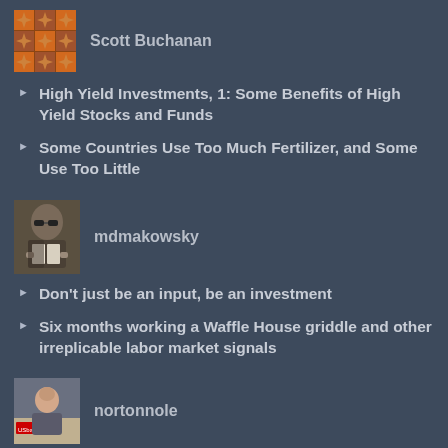[Figure (illustration): Avatar image for Scott Buchanan - orange/brown quilt-like mosaic pattern]
Scott Buchanan
High Yield Investments, 1: Some Benefits of High Yield Stocks and Funds
Some Countries Use Too Much Fertilizer, and Some Use Too Little
[Figure (photo): Avatar photo of mdmakowsky - person reading a book]
mdmakowsky
Don't just be an input, be an investment
Six months working a Waffle House griddle and other irreplicable labor market signals
[Figure (photo): Avatar photo of nortonnole - person at US Bank]
nortonnole